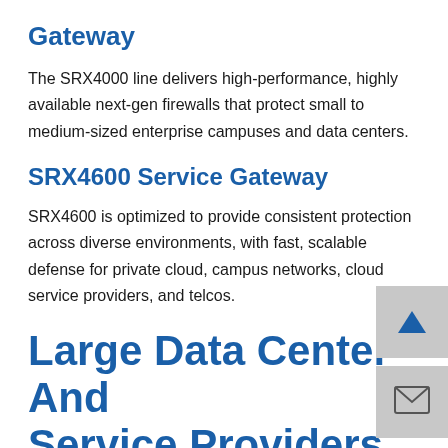Gateway
The SRX4000 line delivers high-performance, highly available next-gen firewalls that protect small to medium-sized enterprise campuses and data centers.
SRX4600 Service Gateway
SRX4600 is optimized to provide consistent protection across diverse environments, with fast, scalable defense for private cloud, campus networks, cloud service providers, and telcos.
Large Data Center And Service Providers